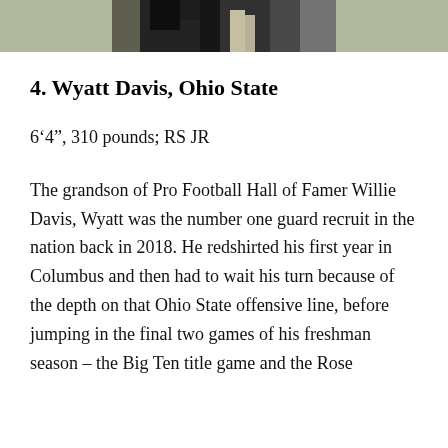[Figure (photo): Partial photo of a football player in uniform, cropped at top of page]
4. Wyatt Davis, Ohio State
6‘4”, 310 pounds; RS JR
The grandson of Pro Football Hall of Famer Willie Davis, Wyatt was the number one guard recruit in the nation back in 2018. He redshirted his first year in Columbus and then had to wait his turn because of the depth on that Ohio State offensive line, before jumping in the final two games of his freshman season – the Big Ten title game and the Rose